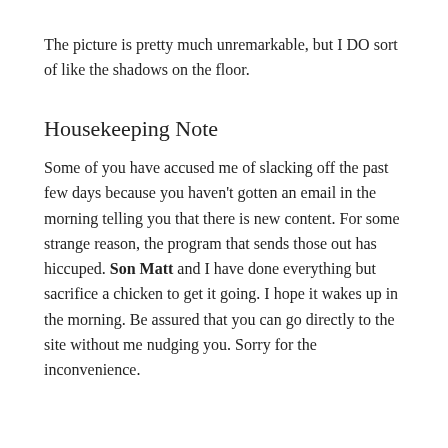The picture is pretty much unremarkable, but I DO sort of like the shadows on the floor.
Housekeeping Note
Some of you have accused me of slacking off the past few days because you haven't gotten an email in the morning telling you that there is new content. For some strange reason, the program that sends those out has hiccuped. Son Matt and I have done everything but sacrifice a chicken to get it going. I hope it wakes up in the morning. Be assured that you can go directly to the site without me nudging you. Sorry for the inconvenience.